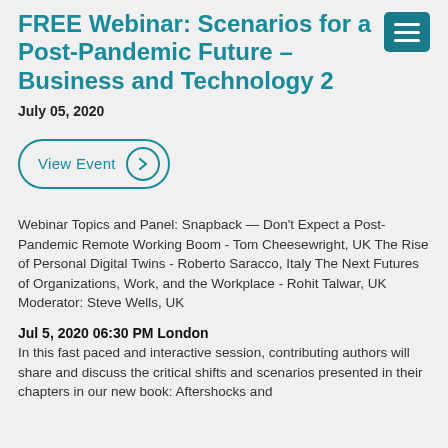FREE Webinar: Scenarios for a Post-Pandemic Future – Business and Technology 2
July 05, 2020
[Figure (other): View Event button with right-arrow chevron icon, teal border, pill shape]
Webinar Topics and Panel: Snapback — Don't Expect a Post-Pandemic Remote Working Boom - Tom Cheesewright, UK The Rise of Personal Digital Twins - Roberto Saracco, Italy The Next Futures of Organizations, Work, and the Workplace - Rohit Talwar, UK Moderator: Steve Wells, UK
Jul 5, 2020 06:30 PM London
In this fast paced and interactive session, contributing authors will share and discuss the critical shifts and scenarios presented in their chapters in our new book: Aftershocks and